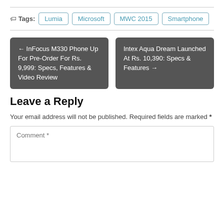Tags: Lumia  Microsoft  MWC 2015  Smartphone
← InFocus M330 Phone Up For Pre-Order For Rs. 9,999: Specs, Features & Video Review
Intex Aqua Dream Launched At Rs. 10,390: Specs & Features →
Leave a Reply
Your email address will not be published. Required fields are marked *
Comment *